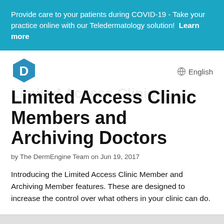Provide care to your patients during COVID-19 - Take your practice online with our Teledermatology solution!  Learn more
[Figure (logo): DermEngine hexagonal logo with letter D in teal/blue color]
English
Limited Access Clinic Members and Archiving Doctors
by The DermEngine Team on Jun 19, 2017
Introducing the Limited Access Clinic Member and Archiving Member features. These are designed to increase the control over what others in your clinic can do.